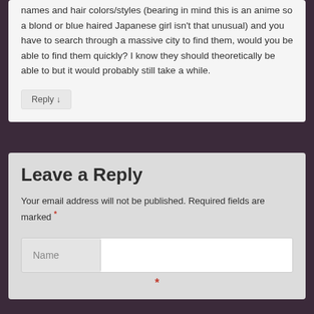names and hair colors/styles (bearing in mind this is an anime so a blond or blue haired Japanese girl isn’t that unusual) and you have to search through a massive city to find them, would you be able to find them quickly? I know they should theoretically be able to but it would probably still take a while.
Reply ↓
Leave a Reply
Your email address will not be published. Required fields are marked *
Name
*